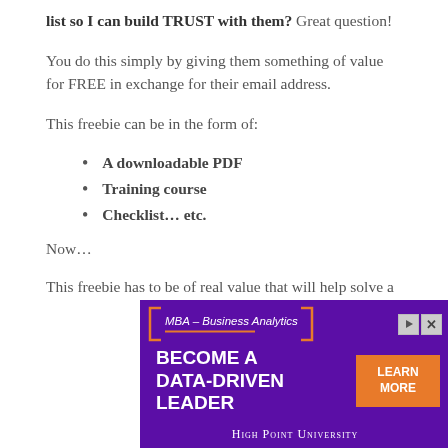list so I can build TRUST with them? Great question!
You do this simply by giving them something of value for FREE in exchange for their email address.
This freebie can be in the form of:
A downloadable PDF
Training course
Checklist… etc.
Now…
This freebie has to be of real value that will help solve a
[Figure (infographic): Advertisement banner for High Point University MBA – Business Analytics program reading 'BECOME A DATA-DRIVEN LEADER' with a Learn More button and orange bracket design on purple background.]